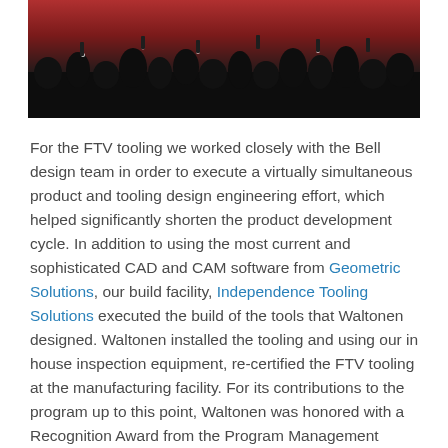[Figure (photo): Crowd of people at an event, dark silhouettes against a red background, many holding up cameras or phones]
For the FTV tooling we worked closely with the Bell design team in order to execute a virtually simultaneous product and tooling design engineering effort, which helped significantly shorten the product development cycle. In addition to using the most current and sophisticated CAD and CAM software from Geometric Solutions, our build facility, Independence Tooling Solutions executed the build of the tools that Waltonen designed. Waltonen installed the tooling and using our in house inspection equipment, re-certified the FTV tooling at the manufacturing facility. For its contributions to the program up to this point, Waltonen was honored with a Recognition Award from the Program Management Team and the Senior Management of Bell Helicopter at a program luncheon in Ft. Worth.